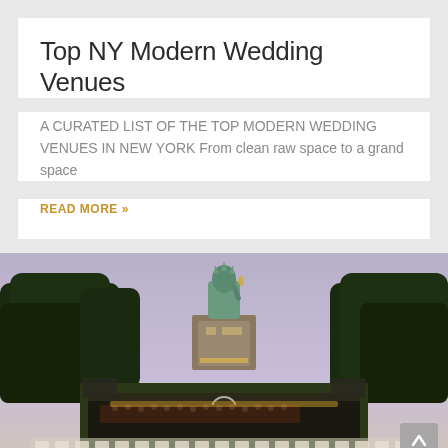Top NY Modern Wedding Venues
A CURATED LIST OF THE TOP MODERN WEDDING VENUES IN NEW YORK From clean raw space to a grand space
READ MORE »
[Figure (photo): Outdoor evening event with the Statue of Liberty in the background, with a stage, orchestra, audience seated at tables with white chairs, surrounded by trees, under a purple dusk sky.]